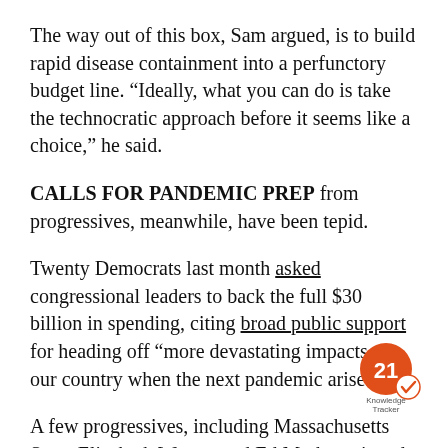The way out of this box, Sam argued, is to build rapid disease containment into a perfunctory budget line. “Ideally, what you can do is take the technocratic approach before it seems like a choice,” he said.
CALLS FOR PANDEMIC PREP from progressives, meanwhile, have been tepid.
Twenty Democrats last month asked congressional leaders to back the full $30 billion in spending, citing broad public support for heading off “more devastating impacts to our country when the next pandemic arises.”
A few progressives, including Massachusetts Sens. Elizabeth Warren and Ed Markey, signed on to the letter, which was organized by Rep. Ritchie Torres